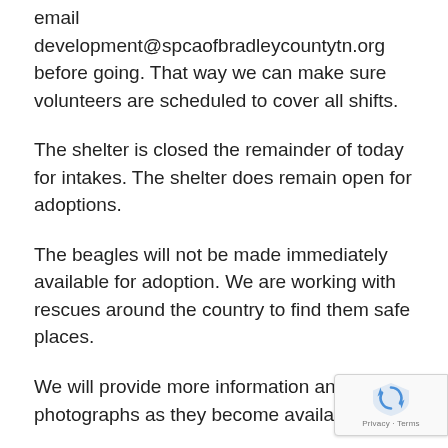email development@spcaofbradleycountytn.org before going. That way we can make sure volunteers are scheduled to cover all shifts.
The shelter is closed the remainder of today for intakes. The shelter does remain open for adoptions.
The beagles will not be made immediately available for adoption. We are working with rescues around the country to find them safe places.
We will provide more information and photographs as they become available.
###
The SPCA of Bradley County is Tennessee's largest open-